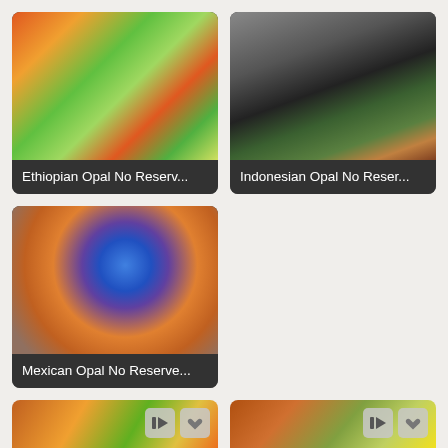[Figure (photo): Close-up of Ethiopian Opal showing vivid play-of-color with red, orange, green hues]
Ethiopian Opal No Reserv...
[Figure (photo): Indonesian Opal dark elongated shape held by fingers showing green iridescence]
Indonesian Opal No Reser...
[Figure (photo): Mexican Opal rough nodule showing vivid blue and multicolor play-of-color]
Mexican Opal No Reserve...
[Figure (photo): Bottom-left opal thumbnail with video and favorite icons]
[Figure (photo): Bottom-right opal thumbnail with video and favorite icons]